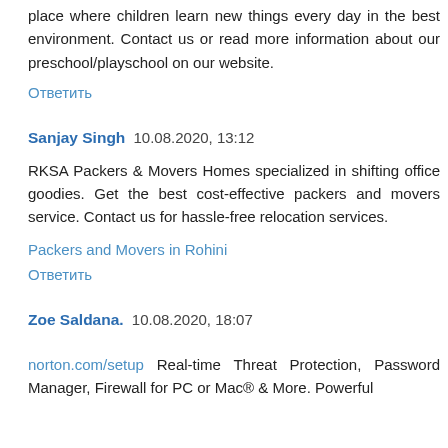place where children learn new things every day in the best environment. Contact us or read more information about our preschool/playschool on our website.
Ответить
Sanjay Singh  10.08.2020, 13:12
RKSA Packers & Movers Homes specialized in shifting office goodies. Get the best cost-effective packers and movers service. Contact us for hassle-free relocation services.
Packers and Movers in Rohini
Ответить
Zoe Saldana.  10.08.2020, 18:07
norton.com/setup Real-time Threat Protection, Password Manager, Firewall for PC or Mac® & More. Powerful protection for your computer and digital data.